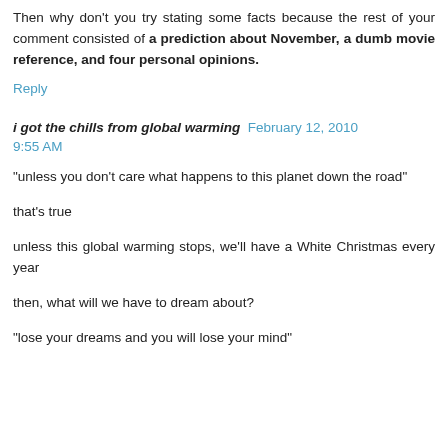Then why don't you try stating some facts because the rest of your comment consisted of a prediction about November, a dumb movie reference, and four personal opinions.
Reply
i got the chills from global warming   February 12, 2010 9:55 AM
"unless you don't care what happens to this planet down the road"
that's true
unless this global warming stops, we'll have a White Christmas every year
then, what will we have to dream about?
"lose your dreams and you will lose your mind"